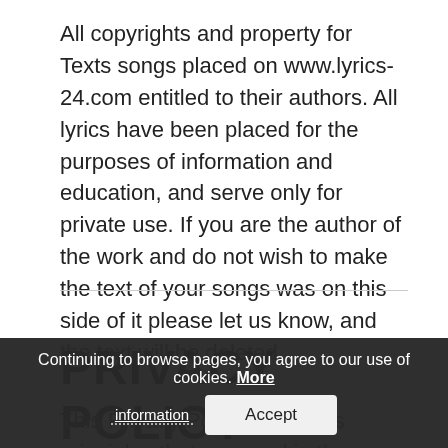All copyrights and property for Texts songs placed on www.lyrics-24.com entitled to their authors. All lyrics have been placed for the purposes of information and education, and serve only for private use. If you are the author of the work and do not wish to make the text of your songs was on this side of it please let us know, and the text will be deleted.
PRIVACY POLICY
This Privacy Policy describes principles that are used in the collection, processing and use of data by the User Administrator
Continuing to browse pages, you agree to our use of cookies. More information   Accept